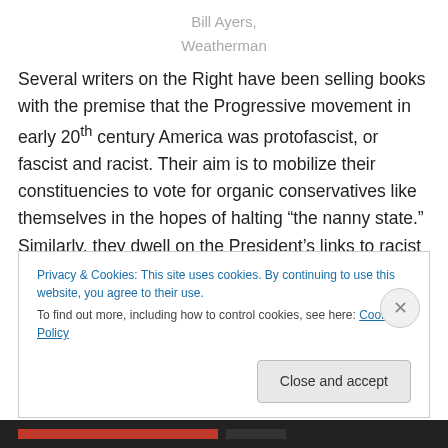Bill Ayers,
Weatherman
Several writers on the Right have been selling books with the premise that the Progressive movement in early 20th century America was protofascist, or fascist and racist. Their aim is to mobilize their constituencies to vote for organic conservatives like themselves in the hopes of halting “the nanny state.”  Similarly, they dwell on the President’s links to racist extremists in the period before he ran for office as a uniter, not a divider.
Privacy & Cookies: This site uses cookies. By continuing to use this website, you agree to their use.
To find out more, including how to control cookies, see here: Cookie Policy
Close and accept